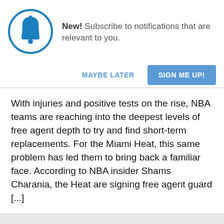[Figure (illustration): Blue bell icon inside a blue circle, notification symbol]
New! Subscribe to notifications that are relevant to you.
MAYBE LATER
SIGN ME UP!
With injuries and positive tests on the rise, NBA teams are reaching into the deepest levels of free agent depth to try and find short-term replacements. For the Miami Heat, this same problem has led them to bring back a familiar face. According to NBA insider Shams Charania, the Heat are signing free agent guard [...]
Read More